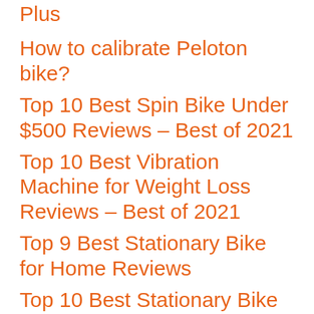Plus
How to calibrate Peloton bike?
Top 10 Best Spin Bike Under $500 Reviews – Best of 2021
Top 10 Best Vibration Machine for Weight Loss Reviews – Best of 2021
Top 9 Best Stationary Bike for Home Reviews
Top 10 Best Stationary Bike for Seniors Reviews 2021
Top 7 Best Exercise Bike for Seniors Reviews in 2021 – Expert